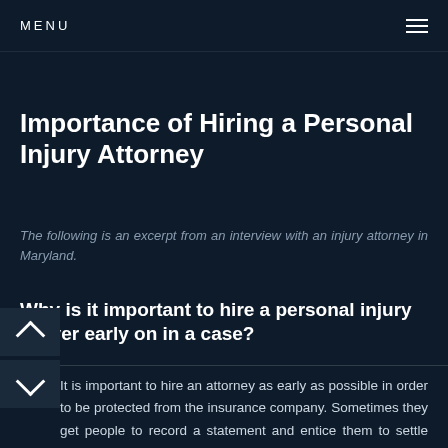MENU
Importance of Hiring a Personal Injury Attorney
The following is an excerpt from an interview with an injury attorney in Maryland.
Why is it important to hire a personal injury lawyer early on in a case?
It is important to hire an attorney as early as possible in order to be protected from the insurance company. Sometimes they get people to record a statement and entice them to settle quickly. They will often ask questions